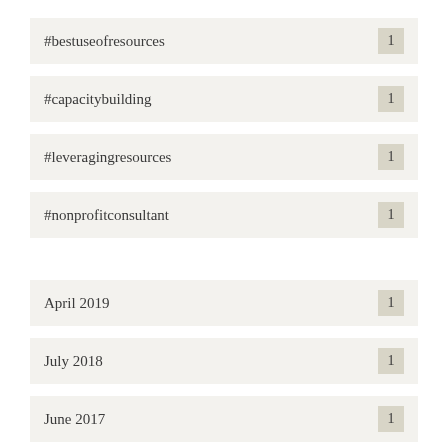#bestuseofresources 1
#capacitybuilding 1
#leveragingresources 1
#nonprofitconsultant 1
April 2019 1
July 2018 1
June 2017 1
February 2017 2